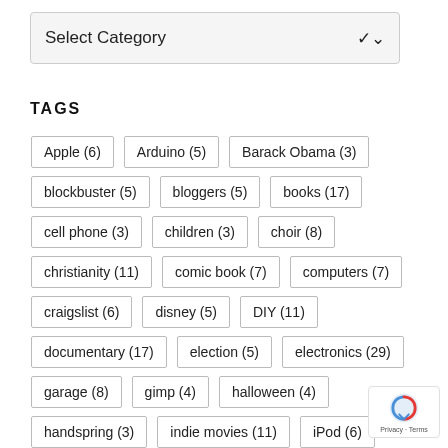[Figure (screenshot): A dropdown UI element with label 'Select Category' and a chevron arrow on the right, styled with a light gray background and border.]
TAGS
Apple (6)
Arduino (5)
Barack Obama (3)
blockbuster (5)
bloggers (5)
books (17)
cell phone (3)
children (3)
choir (8)
christianity (11)
comic book (7)
computers (7)
craigslist (6)
disney (5)
DIY (11)
documentary (17)
election (5)
electronics (29)
garage (8)
gimp (4)
halloween (4)
handspring (3)
indie movies (11)
iPod (6)
marriage (11)
movie trailer (12)
NCAA (5)